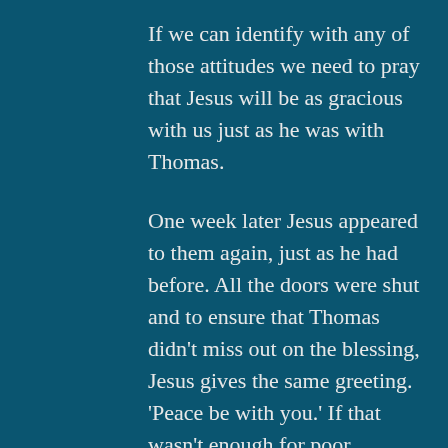If we can identify with any of those attitudes we need to pray that Jesus will be as gracious with us just as he was with Thomas.
One week later Jesus appeared to them again, just as he had before. All the doors were shut and to ensure that Thomas didn't miss out on the blessing, Jesus gives the same greeting. 'Peace be with you.' If that wasn't enough for poor Thomas, who must have been excited and terrified at the same time, there were to be more challenges for him. First of all Jesus really was alive and is talking to him, and secondly all of Thomas's